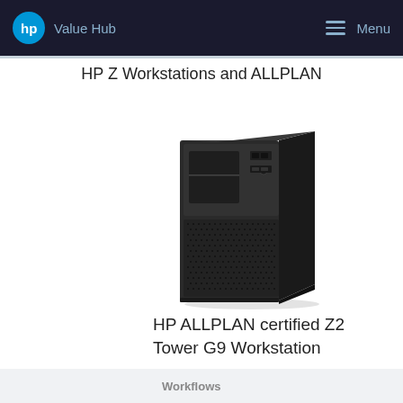HP Value Hub  Menu
HP Z Workstations and ALLPLAN
[Figure (photo): HP Z2 Tower G9 Workstation desktop computer, black tower form factor, photographed at a slight angle showing front and top panels with drive bays and ports]
HP ALLPLAN certified Z2 Tower G9 Workstation
Workflows